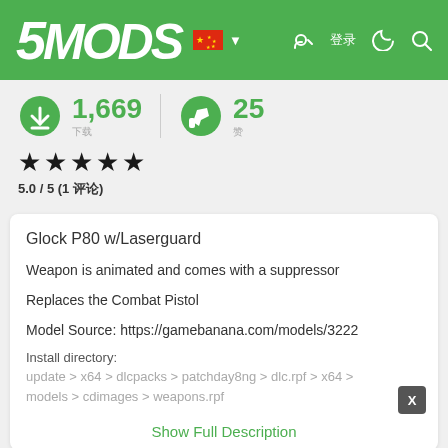5MODS
1,669 downloads, 25 likes
5.0 / 5 (1 评论)
Glock P80 w/Laserguard
Weapon is animated and comes with a suppressor
Replaces the Combat Pistol
Model Source: https://gamebanana.com/models/3222
Install directory: update > x64 > dlcpacks > patchday8ng > dlc.rpf > x64 > models > cdimages > weapons.rpf
Show Full Description